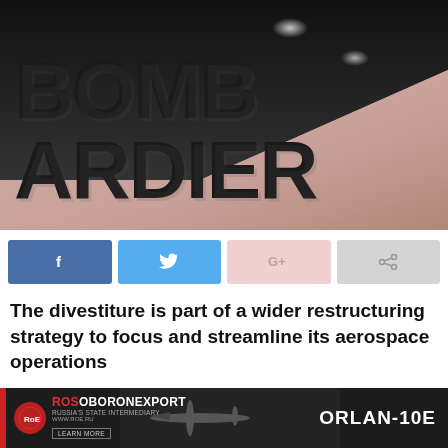[Figure (photo): Bombardier company logo sign — large 3D lettering spelling BOMBARDIER on a beige/cream angled wall with dark ceiling and recessed lighting]
[Figure (infographic): Social sharing buttons: Facebook (blue), Twitter (light blue), Google+ (pink), Share (grey)]
The divestiture is part of a wider restructuring strategy to focus and streamline its aerospace operations
[Figure (infographic): Rosoboronexport advertisement banner — ORLAN-10E drone promotional ad with logo and Learn More button]